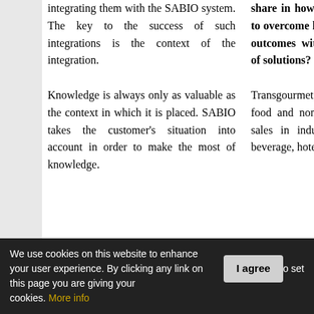integrating them with the SABIO system. The key to the success of such integrations is the context of the integration.
Knowledge is always only as valuable as the context in which it is placed. SABIO takes the customer's situation into account in order to make the most of knowledge.
share in how you have enabled clients to overcome hurdles and attain desired outcomes with your innovative array of solutions?
Transgourmet, a specialized supplier of food and non-food goods and point of sales in industries such as food and beverage, hotel, and hospitality, had
We use cookies on this website to enhance your user experience. By clicking any link on this page you are giving your consent for us to set cookies. More info